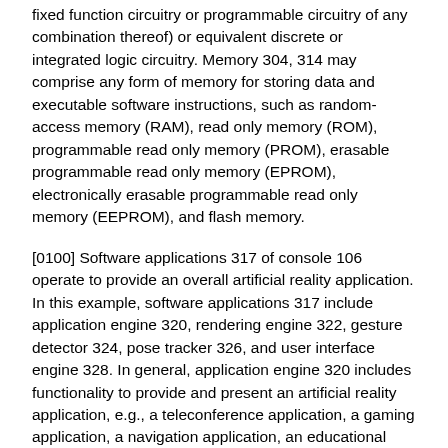fixed function circuitry or programmable circuitry of any combination thereof) or equivalent discrete or integrated logic circuitry. Memory 304, 314 may comprise any form of memory for storing data and executable software instructions, such as random-access memory (RAM), read only memory (ROM), programmable read only memory (PROM), erasable programmable read only memory (EPROM), electronically erasable programmable read only memory (EEPROM), and flash memory.
[0100] Software applications 317 of console 106 operate to provide an overall artificial reality application. In this example, software applications 317 include application engine 320, rendering engine 322, gesture detector 324, pose tracker 326, and user interface engine 328. In general, application engine 320 includes functionality to provide and present an artificial reality application, e.g., a teleconference application, a gaming application, a navigation application, an educational application, training or simulation applications, and the like. Application engine 320 may include, for example, one or more software packages, software libraries, hardware drivers, and/or Application Program Interfaces (APIs) for implementing an artificial reality application on console 106. Responsive to